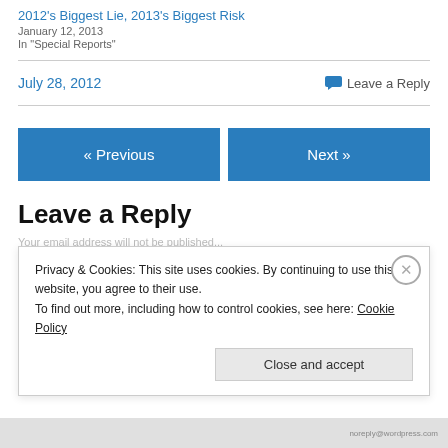2012's Biggest Lie, 2013's Biggest Risk
January 12, 2013
In "Special Reports"
July 28, 2012
Leave a Reply
« Previous
Next »
Leave a Reply
Privacy & Cookies: This site uses cookies. By continuing to use this website, you agree to their use.
To find out more, including how to control cookies, see here: Cookie Policy
Close and accept